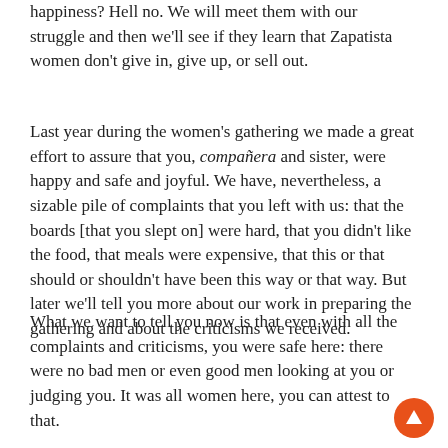happiness? Hell no. We will meet them with our struggle and then we'll see if they learn that Zapatista women don't give in, give up, or sell out.
Last year during the women's gathering we made a great effort to assure that you, compañera and sister, were happy and safe and joyful. We have, nevertheless, a sizable pile of complaints that you left with us: that the boards [that you slept on] were hard, that you didn't like the food, that meals were expensive, that this or that should or shouldn't have been this way or that way. But later we'll tell you more about our work in preparing the gathering and about the criticisms we received.
What we want to tell you now is that even with all the complaints and criticisms, you were safe here: there were no bad men or even good men looking at you or judging you. It was all women here, you can attest to that.